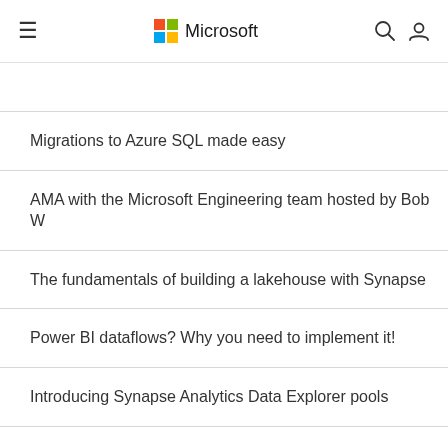Microsoft
Migrations to Azure SQL made easy
AMA with the Microsoft Engineering team hosted by Bob W
The fundamentals of building a lakehouse with Synapse
Power BI dataflows? Why you need to implement it!
Introducing Synapse Analytics Data Explorer pools
An Introduction to Azure SQL Edge: The Database Engine fo Internet of Things